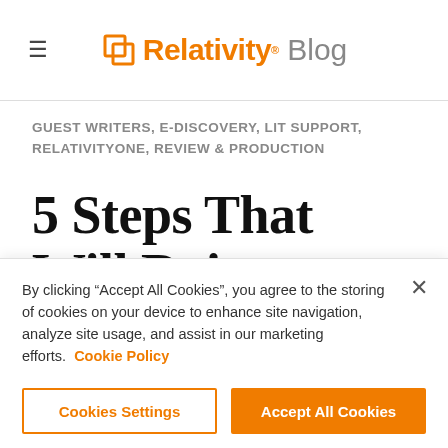Relativity Blog
GUEST WRITERS, E-DISCOVERY, LIT SUPPORT, RELATIVITYONE, REVIEW & PRODUCTION
5 Steps That Will Rejuvenate Your Document Review
By clicking “Accept All Cookies”, you agree to the storing of cookies on your device to enhance site navigation, analyze site usage, and assist in our marketing efforts. Cookie Policy